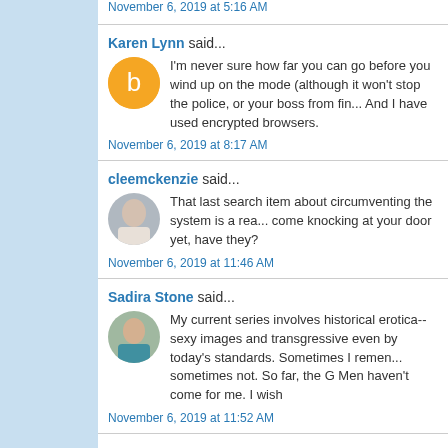Pat G @ EverythingMustChange
November 6, 2019 at 5:16 AM
Karen Lynn said...
I'm never sure how far you can go before you wind up on the mode (although it won't stop the police, or your boss from fin... And I have used encrypted browsers.
November 6, 2019 at 8:17 AM
cleemckenzie said...
That last search item about circumventing the system is a rea... come knocking at your door yet, have they?
November 6, 2019 at 11:46 AM
Sadira Stone said...
My current series involves historical erotica--sexy images and transgressive even by today's standards. Sometimes I remen... sometimes not. So far, the G Men haven't come for me. I wish
November 6, 2019 at 11:52 AM